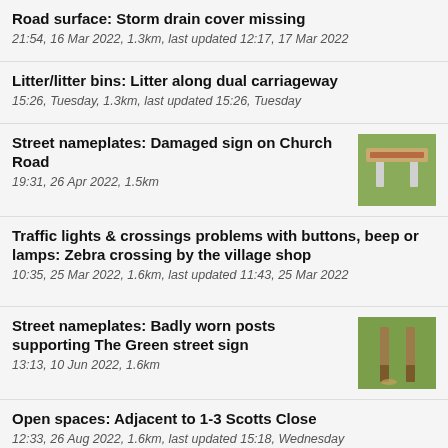Road surface: Storm drain cover missing
21:54, 16 Mar 2022, 1.3km, last updated 12:17, 17 Mar 2022
Litter/litter bins: Litter along dual carriageway
15:26, Tuesday, 1.3km, last updated 15:26, Tuesday
Street nameplates: Damaged sign on Church Road
19:31, 26 Apr 2022, 1.5km
Traffic lights & crossings problems with buttons, beep or lamps: Zebra crossing by the village shop
10:35, 25 Mar 2022, 1.6km, last updated 11:43, 25 Mar 2022
Street nameplates: Badly worn posts supporting The Green street sign
13:13, 10 Jun 2022, 1.6km
Open spaces: Adjacent to 1-3 Scotts Close
12:33, 26 Aug 2022, 1.6km, last updated 15:18, Wednesday
Pothole: Potholes outside 37 and 41 The